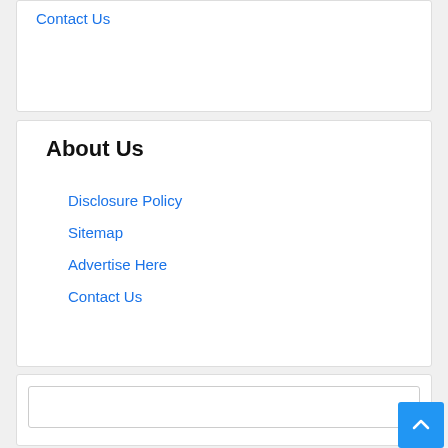Contact Us
About Us
Disclosure Policy
Sitemap
Advertise Here
Contact Us